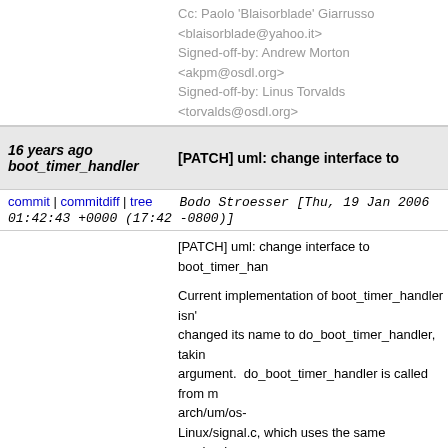Cc: Paolo 'Blaisorblade' Giarrusso <blaisorblade@yahoo.it>
Signed-off-by: Andrew Morton <akpm@osdl.org>
Signed-off-by: Linus Torvalds <torvalds@osdl.org>
16 years ago   [PATCH] uml: change interface to boot_timer_handler
commit | commitdiff | tree   Bodo Stroesser [Thu, 19 Jan 2006 01:42:43 +0000 (17:42 -0800)]
[PATCH] uml: change interface to boot_timer_handler

Current implementation of boot_timer_handler isn't changed its name to do_boot_timer_handler, taking argument.  do_boot_timer_handler is called from arch/um/os-Linux/signal.c, which uses the same mechanisms handler to find out sigcontext pointer.
Signed-off-by: Bodo Stroesser <bstroesser@fujitsu-siemens.com>
Signed-off-by: Jeff Dike <jdike@addtoit.com>
Cc: Paolo 'Blaisorblade' Giarrusso <blaisorblade@yahoo.it>
Signed-off-by: Andrew Morton <akpm@osdl.org>
Signed-off-by: Linus Torvalds